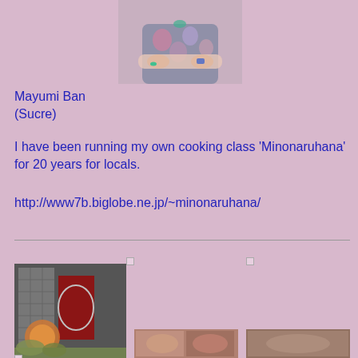[Figure (photo): Profile photo of Mayumi Ban, a woman in a floral dress with arms crossed]
Mayumi Ban
(Sucre)
I have been running my own cooking class 'Minonaruhana' for 20 years for locals.
http://www7b.biglobe.ne.jp/~minonaruhana/
[Figure (photo): Exterior photo of a building entrance with decorative sign]
[Figure (photo): Food/dish photo thumbnail]
[Figure (photo): Food/dish photo thumbnail]